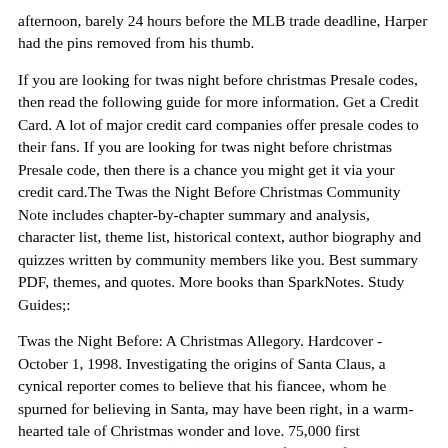afternoon, barely 24 hours before the MLB trade deadline, Harper had the pins removed from his thumb.
If you are looking for twas night before christmas Presale codes, then read the following guide for more information. Get a Credit Card. A lot of major credit card companies offer presale codes to their fans. If you are looking for twas night before christmas Presale code, then there is a chance you might get it via your credit card.The Twas the Night Before Christmas Community Note includes chapter-by-chapter summary and analysis, character list, theme list, historical context, author biography and quizzes written by community members like you. Best summary PDF, themes, and quotes. More books than SparkNotes. Study Guides;:
Twas the Night Before: A Christmas Allegory. Hardcover - October 1, 1998. Investigating the origins of Santa Claus, a cynical reporter comes to believe that his fiancee, whom he spurned for believing in Santa, may have been right, in a warm-hearted tale of Christmas wonder and love. 75,000 first printing.Aug 13, 2022 · (916): View more from California She won't let me meet her hot new boy toy just because she thinks it'll lead to us having a threesome. It's not fair. I thought we were friends... 'Twas the Night Before Christmas Explained 'Twas the Night Before Christmas. This is a popular poem in the United States at Christmas time. It was written in the 1800s by Clement Clarke Moore. Sometimes it can be difficult to